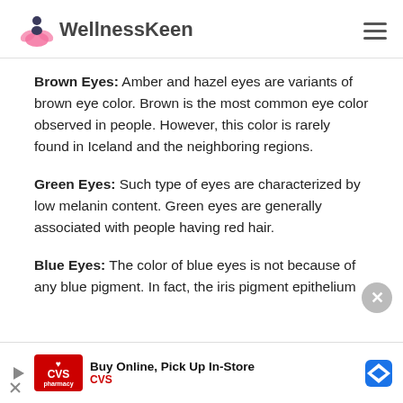WellnessKeen
Brown Eyes: Amber and hazel eyes are variants of brown eye color. Brown is the most common eye color observed in people. However, this color is rarely found in Iceland and the neighboring regions.
Green Eyes: Such type of eyes are characterized by low melanin content. Green eyes are generally associated with people having red hair.
Blue Eyes: The color of blue eyes is not because of any blue pigment. In fact, the iris pigment epithelium
Buy Online, Pick Up In-Store CVS